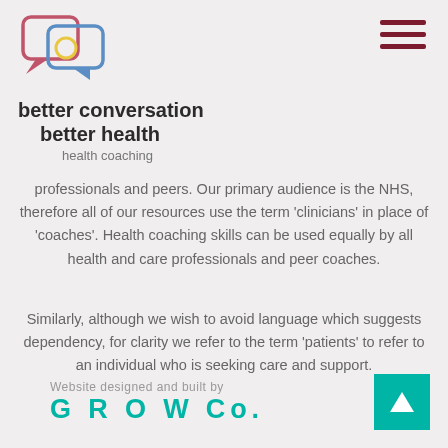[Figure (logo): Better Conversation Better Health logo with two overlapping speech bubbles (pink/red and blue) with a yellow circle, plus hamburger menu icon]
better conversation better health
health coaching
professionals and peers. Our primary audience is the NHS, therefore all of our resources use the term 'clinicians' in place of 'coaches'. Health coaching skills can be used equally by all health and care professionals and peer coaches.
Similarly, although we wish to avoid language which suggests dependency, for clarity we refer to the term 'patients' to refer to an individual who is seeking care and support.
Website designed and built by GROW Co.